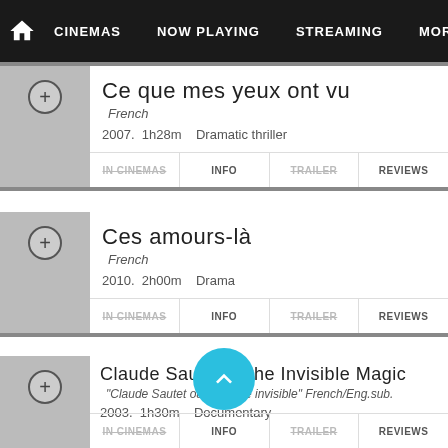CINEMAS  NOW PLAYING  STREAMING  MORE
Ce que mes yeux ont vu
French
2007. 1h28m  Dramatic thriller
Ces amours-là
French
2010. 2h00m  Drama
Claude Sautet or the Invisible Magic
"Claude Sautet ou la magie invisible" French/Eng.sub.
2003. 1h30m  Documentary